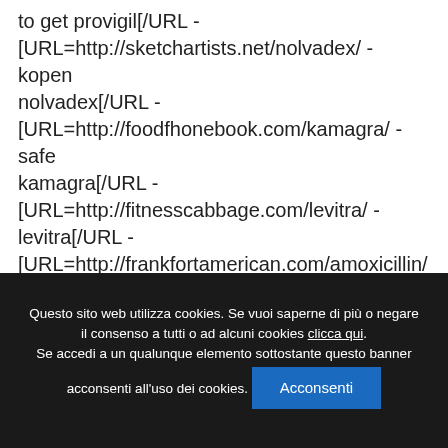to get provigil[/URL - [URL=http://sketchartists.net/nolvadex/ - kopen nolvadex[/URL - [URL=http://foodfhonebook.com/kamagra/ - safe kamagra[/URL - [URL=http://fitnesscabbage.com/levitra/ - levitra[/URL - [URL=http://frankfortamerican.com/amoxicillin/ - amoxicillin 500[/URL - [URL=http://davincipictures.com/combigan/ - cheap
Questo sito web utilizza cookies. Se vuoi saperne di più o negare il consenso a tutti o ad alcuni cookies clicca qui. Se accedi a un qualunque elemento sottostante questo banner acconsenti all'uso dei cookies. Acconsenti